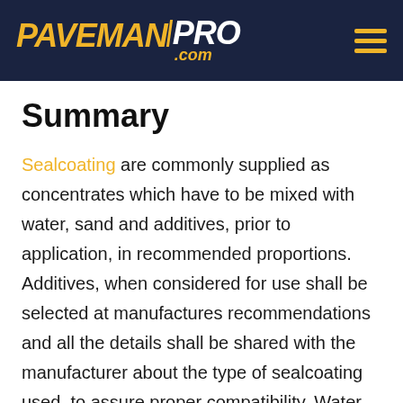PAVEMANPRO.COM
Summary
Sealcoating are commonly supplied as concentrates which have to be mixed with water, sand and additives, prior to application, in recommended proportions. Additives, when considered for use shall be selected at manufactures recommendations and all the details shall be shared with the manufacturer about the type of sealcoating used, to assure proper compatibility. Water, sand and the additives have to meet all the purity, gradation and chemical requirements